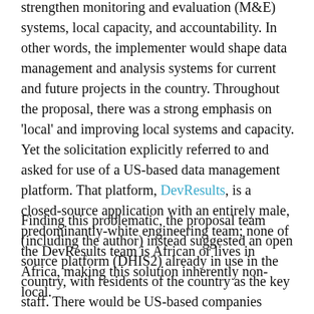strengthen monitoring and evaluation (M&E) systems, local capacity, and accountability. In other words, the implementer would shape data management and analysis systems for current and future projects in the country. Throughout the proposal, there was a strong emphasis on 'local' and improving local systems and capacity. Yet the solicitation explicitly referred to and asked for use of a US-based data management platform. That platform, DevResults, is a closed-source application with an entirely male, predominantly-white engineering team; none of the DevResults team is African or lives in Africa, making this solution inherently non-local.
Finding this problematic, the proposal team (including the author) instead suggested an open source platform (DHIS2) already in use in the country, with residents of the country as the key staff. There would be US-based companies involved as a support team, but the project would focus on building local capacity and local systems with local data, and this US engagement as one of